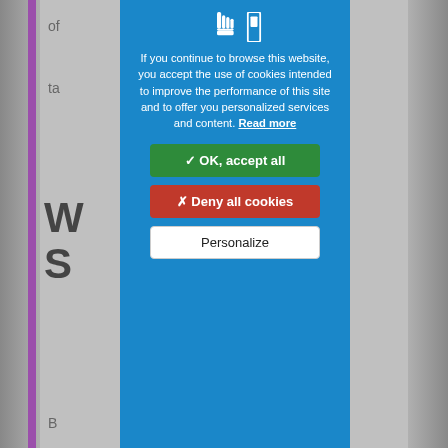[Figure (screenshot): Background webpage content partially visible behind a cookie consent modal overlay. Left side shows partial text characters and a purple vertical bar. Right side shows partial words ending in 'tion'.]
If you continue to browse this website, you accept the use of cookies intended to improve the performance of this site and to offer you personalized services and content. Read more
✓ OK, accept all
✗ Deny all cookies
Personalize